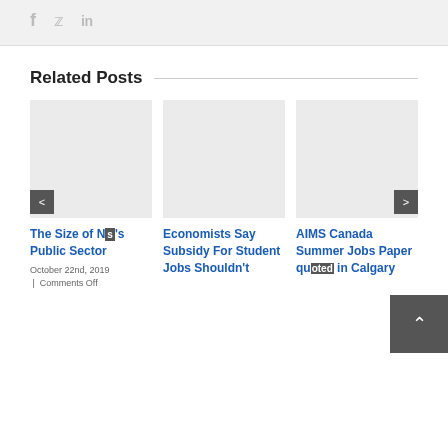[Figure (other): Social media sharing icons: Facebook (f), Twitter (bird), LinkedIn (in) in light gray on a light gray background bar]
Related Posts
[Figure (photo): Placeholder image (light gray rectangle) for 'The Size of NS's Public Sector' post]
The Size of NS's Public Sector
October 22nd, 2019  |  Comments Off
[Figure (photo): Placeholder image (light gray rectangle) for 'Economists Say Subsidy For Student Jobs Shouldn't' post]
Economists Say Subsidy For Student Jobs Shouldn't
[Figure (photo): Placeholder image (light gray rectangle) for 'AIMS Canada Summer Jobs Paper quoted in Calgary' post]
AIMS Canada Summer Jobs Paper quoted in Calgary